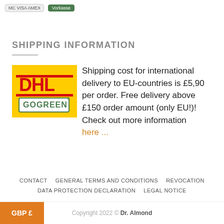[Figure (screenshot): Payment method badges at top: credit card icons and Vorkasse green button]
SHIPPING INFORMATION
[Figure (logo): DHL GoGreen logo on yellow background]
Shipping cost for international delivery to EU-countries is £5,90 per order. Free delivery above £150 order amount (only EU!)! Check out more information here ...
CONTACT   GENERAL TERMS AND CONDITIONS   REVOCATION   DATA PROTECTION DECLARATION   LEGAL NOTICE
Copyright 2022 © Dr. Almond
GBP £